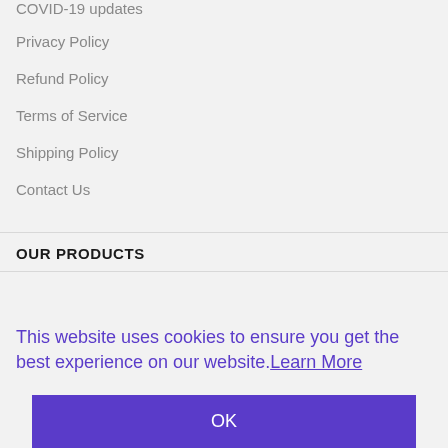COVID-19 updates
Privacy Policy
Refund Policy
Terms of Service
Shipping Policy
Contact Us
OUR PRODUCTS
This website uses cookies to ensure you get the best experience on our website. Learn More
OK